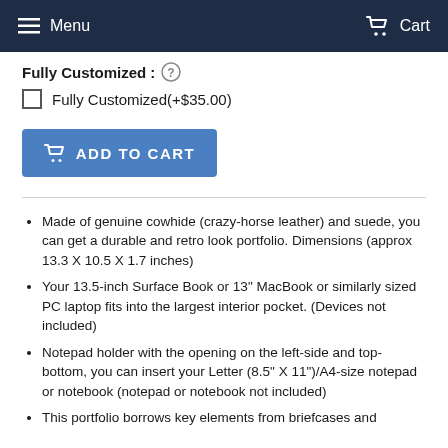Menu  Cart
Fully Customized :
Fully Customized(+$35.00)
[Figure (other): ADD TO CART button with cart icon]
Made of genuine cowhide (crazy-horse leather) and suede, you can get a durable and retro look portfolio. Dimensions (approx 13.3 X 10.5 X 1.7 inches)
Your 13.5-inch Surface Book or 13" MacBook or similarly sized PC laptop fits into the largest interior pocket. (Devices not included)
Notepad holder with the opening on the left-side and top-bottom, you can insert your Letter (8.5" X 11")/A4-size notepad or notebook (notepad or notebook not included)
This portfolio borrows key elements from briefcases and